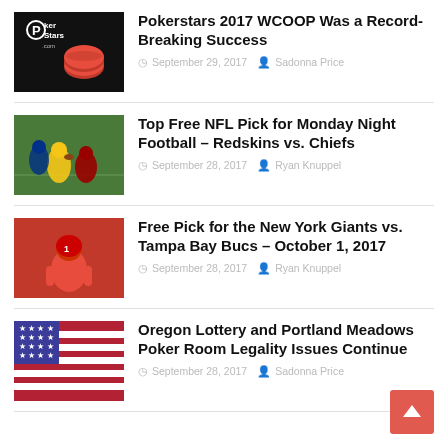Pokerstars 2017 WCOOP Was a Record-Breaking Success | September 29, 2017 | Sadonna Price
Top Free NFL Pick for Monday Night Football – Redskins vs. Chiefs | September 28, 2017 | Ryan Knuppel
Free Pick for the New York Giants vs. Tampa Bay Bucs – October 1, 2017 | September 28, 2017 | Ryan Knuppel
Oregon Lottery and Portland Meadows Poker Room Legality Issues Continue | September 28, 2017 | Sadonna Price